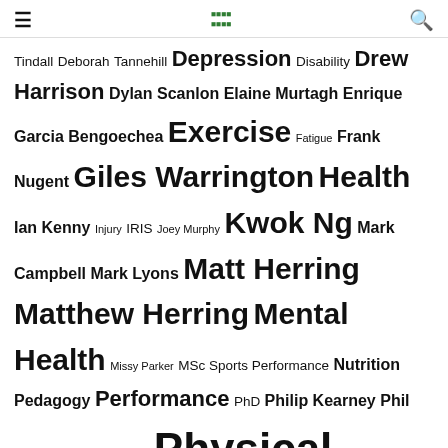[hamburger menu] [logo] [search icon]
Tindall Deborah Tannehill Depression Disability Drew Harrison Dylan Scanlon Elaine Murtagh Enrique Garcia Bengoechea Exercise Fatigue Frank Nugent Giles Warrington Health Ian Kenny Injury IRIS Joey Murphy Kwok Ng Mark Campbell Mark Lyons Matt Herring Matthew Herring Mental Health Missy Parker MSc Sports Performance Nutrition Pedagogy Performance PhD Philip Kearney Phil Jakeman Phil Kearney Physical Activity Physical Education Professional Development professional learning Publication Research Rugby Sedentary Behaviour Sport Sport Psychology Sports Science Strength and Conditioning Tadhg MacIntyre